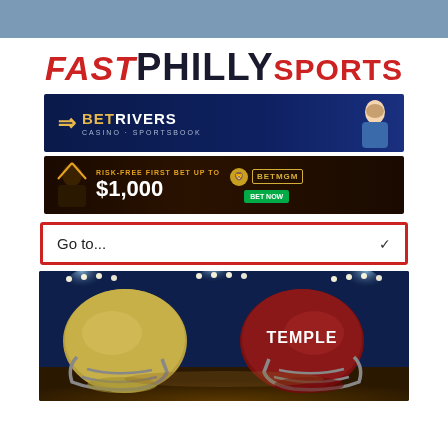[Figure (logo): Fast Philly Sports logo with FAST in red italic, PHILLY in dark navy bold, SPORTS in red bold]
[Figure (screenshot): BetRivers Casino Sportsbook advertisement banner with golden arrow logo, dark blue background, woman in suit on right]
[Figure (screenshot): BetMGM advertisement: Risk-Free First Bet up to $1,000, dark background with person celebrating]
[Figure (screenshot): Go to... dropdown navigation selector with red border]
[Figure (photo): Two football helmets facing each other on a stadium field with bright lights; left helmet is gold/silver, right helmet is dark red with TEMPLE written on it]